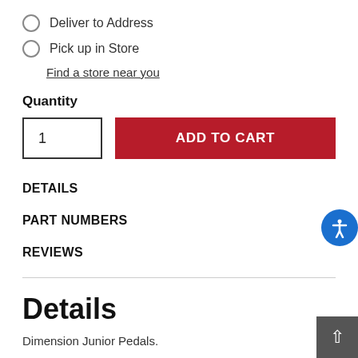Deliver to Address
Pick up in Store
Find a store near you
Quantity
1
ADD TO CART
DETAILS
PART NUMBERS
REVIEWS
Details
Dimension Junior Pedals.